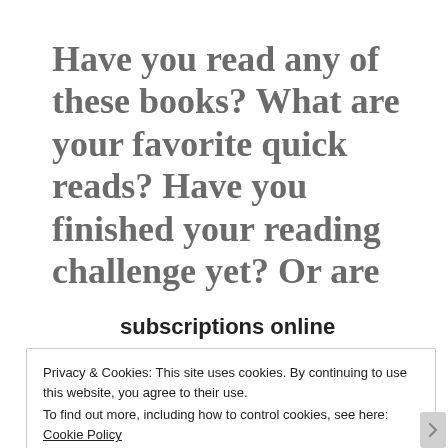Have you read any of these books? What are your favorite quick reads? Have you finished your reading challenge yet? Or are you still working on it?
subscriptions online
Privacy & Cookies: This site uses cookies. By continuing to use this website, you agree to their use.
To find out more, including how to control cookies, see here: Cookie Policy
Close and accept